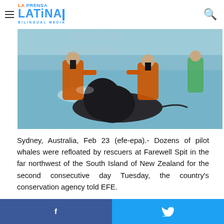La Prensa Latina - Bilingual Media
[Figure (photo): Two rescuers in orange vests and wetsuits helping a pilot whale in shallow water at Farewell Spit, New Zealand]
Sydney, Australia, Feb 23 (efe-epa).- Dozens of pilot whales were refloated by rescuers at Farewell Spit in the far northwest of the South Island of New Zealand for the second consecutive day Tuesday, the country's conservation agency told EFE.